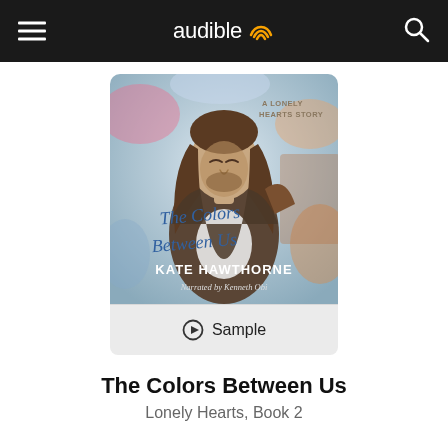audible — navigation bar with hamburger menu and search icon
[Figure (illustration): Audiobook cover art for 'The Colors Between Us' by Kate Hawthorne. Shows a man with long brown hair looking downward against a colorful abstract painted background. Text on cover: 'A Lonely Hearts Story', 'The Colors Between Us' in cursive blue lettering, 'KATE HAWTHORNE', 'Narrated by Kenneth Obi'.]
Sample
The Colors Between Us
Lonely Hearts, Book 2